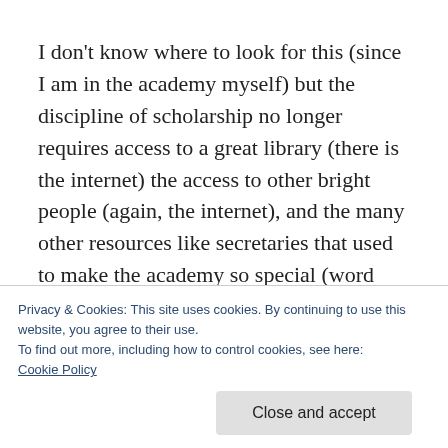I don't know where to look for this (since I am in the academy myself) but the discipline of scholarship no longer requires access to a great library (there is the internet) the access to other bright people (again, the internet), and the many other resources like secretaries that used to make the academy so special (word processors do most of that work now).
It seems that quite a few people are living a life
Privacy & Cookies: This site uses cookies. By continuing to use this website, you agree to their use.
To find out more, including how to control cookies, see here:
Cookie Policy
I still want to believe that a non-wealthy